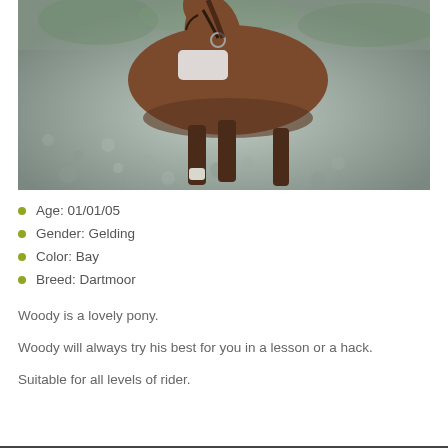[Figure (photo): A bay horse (pony) standing on a gravel surface, wearing a bridle and a white saddle pad, photographed from the front-left angle. The horse is brown with dark legs. Trees are visible in the background.]
Age: 01/01/05
Gender: Gelding
Color: Bay
Breed: Dartmoor
Woody is a lovely pony.
Woody will always try his best for you in a lesson or a hack.
Suitable for all levels of rider.